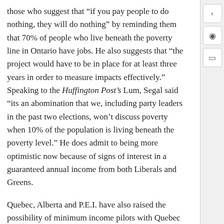those who suggest that “if you pay people to do nothing, they will do nothing” by reminding them that 70% of people who live beneath the poverty line in Ontario have jobs. He also suggests that “the project would have to be in place for at least three years in order to measure impacts effectively.” Speaking to the Huffington Post’s Lum, Segal said “its an abomination that we, including party leaders in the past two elections, won’t discuss poverty when 10% of the population is living beneath the poverty level.” He does admit to being more optimistic now because of signs of interest in a guaranteed annual income from both Liberals and Greens.
Quebec, Alberta and P.E.I. have also raised the possibility of minimum income pilots with Quebec having appointed a cabinet minister to study the topic. Federal M.P. Robert Falcon Oulette is pushing for government research on the topic while the mayors of both Edmonton and Calgary are on board as well. Segal describes the current poverty-